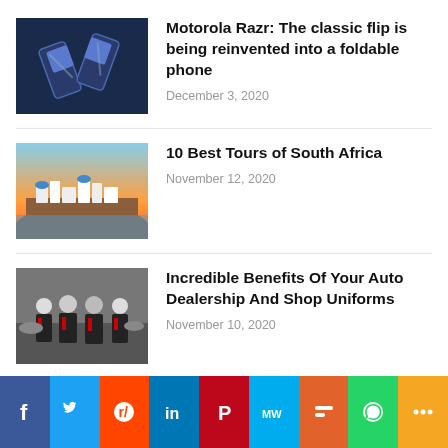[Figure (photo): Two Motorola Razr foldable phones on dark blue background]
Motorola Razr: The classic flip is being reinvented into a foldable phone
December 3, 2020
[Figure (photo): Scenic view of white buildings on rocky cliffs, travel destination]
10 Best Tours of South Africa
November 12, 2020
[Figure (photo): Group of auto dealership workers in black and red uniforms standing in a garage]
Incredible Benefits Of Your Auto Dealership And Shop Uniforms
November 10, 2020
[Figure (infographic): Social media share buttons bar: Facebook, Twitter, Reddit, LinkedIn, Pinterest, MW, Mix, WhatsApp, More]